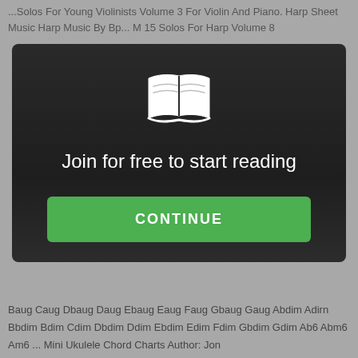...Solos For Young Violinists Volume 3 For Violin And Piano. Harp Sheet Music Harp Music By Bp... M 15 Solos For Harp Volume 8
[Figure (screenshot): A modal overlay dialog with dark gradient background, showing a white open book icon, the text 'Join for free to start reading', and a green CONTINUE button]
Baug Caug Dbaug Daug Ebaug Eaug Faug Gbaug Gaug Abdim Adirn Bbdim Bdim Cdim Dbdim Ddim Ebdim Edim Fdim Gbdim Gdim Ab6 Abm6 Am6 ... Mini Ukulele Chord Charts Author: Jon